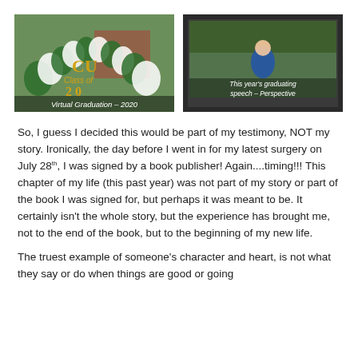[Figure (photo): Photo of a green and white balloon arch with 'CU Class of 2020' text, Virtual Graduation 2020 caption overlay]
[Figure (photo): Photo of a TV screen showing a woman giving a graduation speech, caption reads 'This year's graduating speech – Perspective']
So, I guess I decided this would be part of my testimony, NOT my story.  Ironically, the day before I went in for my latest surgery on July 28th, I was signed by a book publisher! Again....timing!!! This chapter of my life (this past year) was not part of my story or part of the book I was signed for, but perhaps it was meant to be. It certainly isn't the whole story, but the experience has brought me, not to the end of the book, but to the beginning of my new life.
The truest example of someone's character and heart, is not what they say or do when things are good or going...